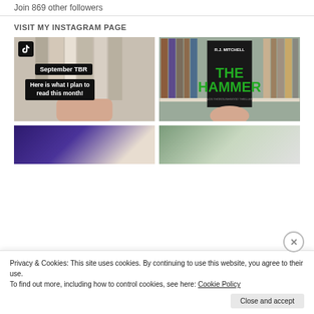Join 869 other followers
VISIT MY INSTAGRAM PAGE
[Figure (photo): TikTok-style video thumbnail showing books spine-out with overlaid text 'September TBR' and 'Here is what I plan to read this month!']
[Figure (photo): Instagram photo showing R.J. Mitchell 'The Hammer - A DS Thoroughgood Thriller' book cover held in front of a bookshelf]
[Figure (photo): Partially visible bottom-left Instagram photo showing a purple book]
[Figure (photo): Partially visible bottom-right Instagram photo showing books]
Privacy & Cookies: This site uses cookies. By continuing to use this website, you agree to their use.
To find out more, including how to control cookies, see here: Cookie Policy